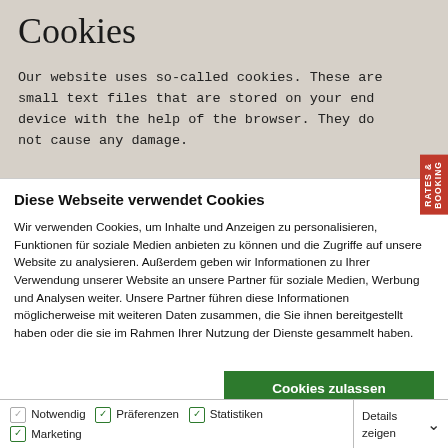Cookies
Our website uses so-called cookies. These are small text files that are stored on your end device with the help of the browser. They do not cause any damage.
Diese Webseite verwendet Cookies
Wir verwenden Cookies, um Inhalte und Anzeigen zu personalisieren, Funktionen für soziale Medien anbieten zu können und die Zugriffe auf unsere Website zu analysieren. Außerdem geben wir Informationen zu Ihrer Verwendung unserer Website an unsere Partner für soziale Medien, Werbung und Analysen weiter. Unsere Partner führen diese Informationen möglicherweise mit weiteren Daten zusammen, die Sie ihnen bereitgestellt haben oder die sie im Rahmen Ihrer Nutzung der Dienste gesammelt haben.
Cookies zulassen
Auswahl erlauben
Nur notwendige Cookies
Notwendig  Präferenzen  Statistiken  Marketing  Details zeigen